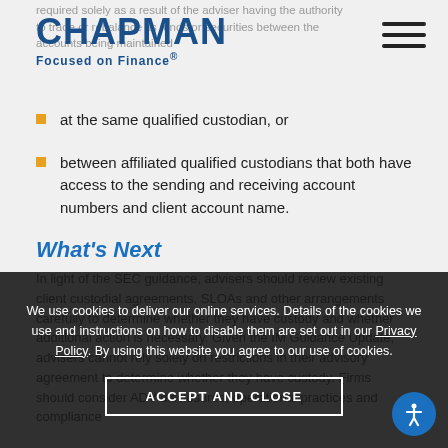CHAPMAN Focused on Finance®
required solely as a result of the adviser having the authority to trade or rebalance its funds or securities between the accounts being maintained
at the same qualified custodian, or
between affiliated qualified custodians that both have access to the sending and receiving account numbers and client account name.
What's Next
In light of the SEC guidance, advisers should review existing client custodial agreements, SLOAs and other arrangements carefully to determine whether they have custody and whether additional action is necessary. Given the IM Guidance Update, advisers cannot rely solely on restrictions in their advisory agreement to determine whether they have custody. Firms should consider ADV disclosures, operational practices and compliance
We use cookies to deliver our online services. Details of the cookies we use and instructions on how to disable them are set out in our Privacy Policy. By using this website you agree to our use of cookies.